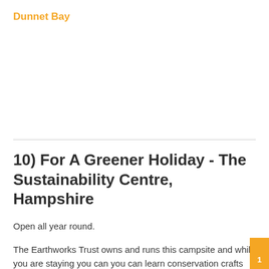Dunnet Bay
10) For A Greener Holiday - The Sustainability Centre, Hampshire
Open all year round.
The Earthworks Trust owns and runs this campsite and while you are staying you can you can learn conservation crafts and natural remedies for a more healthy and